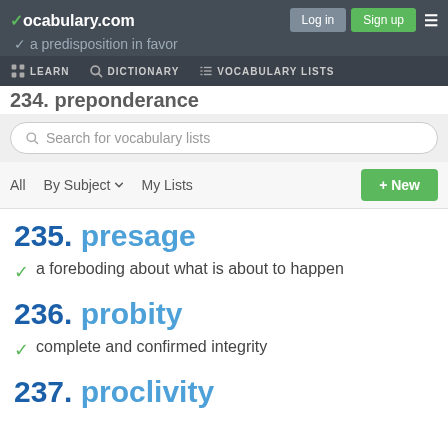vocabulary.com — Log in | Sign up
LEARN  DICTIONARY  VOCABULARY LISTS
Search for vocabulary lists
All  By Subject  My Lists  + New
235. presage
a foreboding about what is about to happen
236. probity
complete and confirmed integrity
237. proclivity